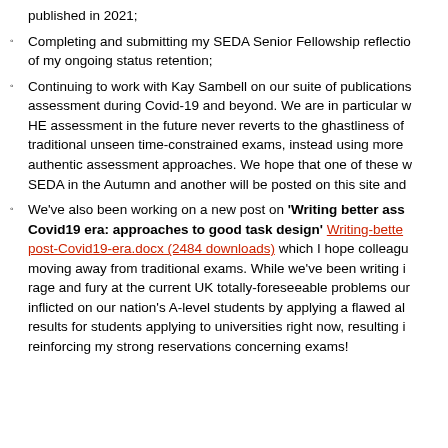published in 2021;
Completing and submitting my SEDA Senior Fellowship reflection of my ongoing status retention;
Continuing to work with Kay Sambell on our suite of publications assessment during Covid-19 and beyond. We are in particular w HE assessment in the future never reverts to the ghastliness of traditional unseen time-constrained exams, instead using more authentic assessment approaches. We hope that one of these w SEDA in the Autumn and another will be posted on this site and
We've also been working on a new post on 'Writing better ass Covid19 era: approaches to good task design' Writing-bette post-Covid19-era.docx (2484 downloads) which I hope colleagu moving away from traditional exams. While we've been writing i rage and fury at the current UK totally-foreseeable problems ou inflicted on our nation's A-level students by applying a flawed al results for students applying to universities right now, resulting i reinforcing my strong reservations concerning exams!